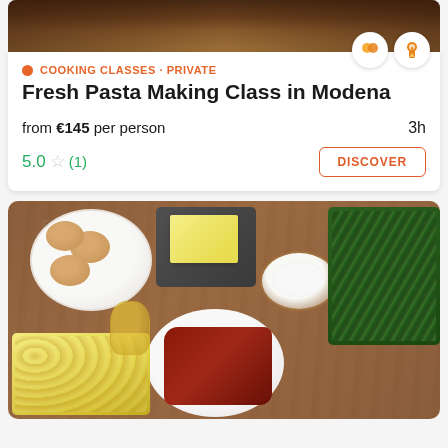[Figure (photo): Top partial image of a wooden kitchen counter with food preparation items]
COOKING CLASSES · PRIVATE
Fresh Pasta Making Class in Modena
from €145 per person
3h
5.0 ☆ (1)
DISCOVER
[Figure (photo): Overhead view of cooking ingredients on a wooden table: eggs in a white bowl, a block of butter on a slate board, a bowl of coarse salt, fresh herbs on a black plate, a piece of raw meat on a white plate, roasted potato slices on a white dish, and a glass of olive oil]